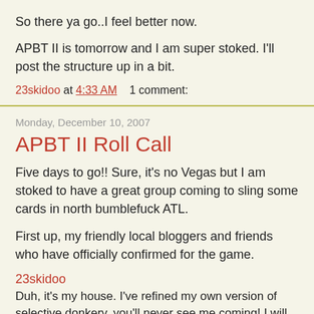So there ya go..I feel better now.
APBT II is tomorrow and I am super stoked. I'll post the structure up in a bit.
23skidoo at 4:33 AM    1 comment:
Monday, December 10, 2007
APBT II Roll Call
Five days to go!! Sure, it's no Vegas but I am stoked to have a great group coming to sling some cards in north bumblefuck ATL.
First up, my friendly local bloggers and friends who have officially confirmed for the game.
23skidoo
Duh, it's my house. I've refined my own version of selective donkery, you'll never see me coming! I will have some sort of